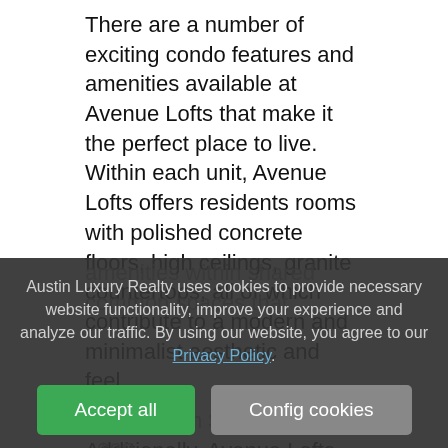There are a number of exciting condo features and amenities available at Avenue Lofts that make it the perfect place to live. Within each unit, Avenue Lofts offers residents rooms with polished concrete floors, high ceilings, granite countertops, all of which contribute to a modern and minimalist aesthetic and feel.
Additionally, Avenue Lofts has a number of amenities within shared common spaces that...
Austin Luxury Realty uses cookies to provide necessary website functionality, improve your experience and analyze our traffic. By using our website, you agree to our Privacy Policy.